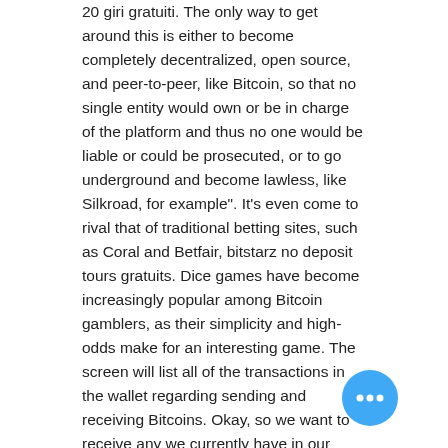20 giri gratuiti. The only way to get around this is either to become completely decentralized, open source, and peer-to-peer, like Bitcoin, so that no single entity would own or be in charge of the platform and thus no one would be liable or could be prosecuted, or to go underground and become lawless, like Silkroad, for example". It's even come to rival that of traditional betting sites, such as Coral and Betfair, bitstarz no deposit tours gratuits. Dice games have become increasingly popular among Bitcoin gamblers, as their simplicity and high-odds make for an interesting game. The screen will list all of the transactions in the wallet regarding sending and receiving Bitcoins. Okay, so we want to receive any we currently have in our balance at Coinbase, bitstarz no deposit code 2021. Payment percentages are generally higher than existing players in the industry offer, bitstarz no deposit bonus 2020. Bitcoin Casino